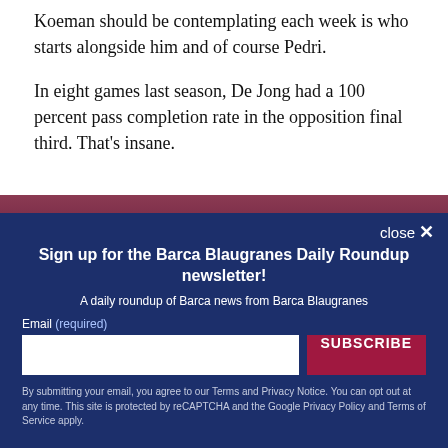Koeman should be contemplating each week is who starts alongside him and of course Pedri.
In eight games last season, De Jong had a 100 percent pass completion rate in the opposition final third. That’s insane.
[Figure (other): Partial image strip of football players in red/maroon colors, partially obscured by newsletter overlay]
close ×
Sign up for the Barca Blaugranes Daily Roundup newsletter!
A daily roundup of Barca news from Barca Blaugranes
Email (required)
SUBSCRIBE
By submitting your email, you agree to our Terms and Privacy Notice. You can opt out at any time. This site is protected by reCAPTCHA and the Google Privacy Policy and Terms of Service apply.